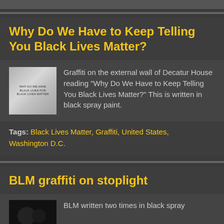Why Do We Have to Keep Telling You Black Lives Matter?
[Figure (photo): Thumbnail photo of graffiti on the external wall of Decatur House reading 'Why Do We Have to Keep Telling You Black Lives Matter?' written in black spray paint.]
Graffiti on the external wall of Decatur House reading "Why Do We Have to Keep Telling You Black Lives Matter?" This is written in black spray paint.
Tags: Black Lives Matter, Graffiti, United States, Washington D.C.
BLM graffiti on stoplight
[Figure (photo): Dark thumbnail photo related to BLM graffiti on stoplight.]
BLM written two times in black spray